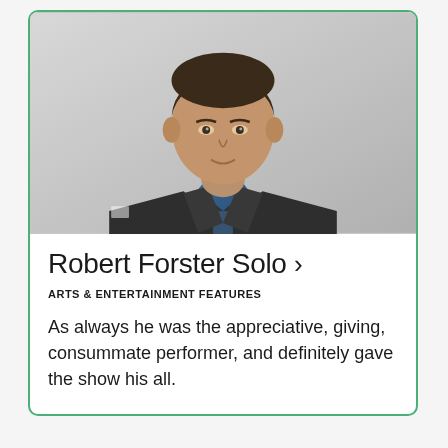[Figure (photo): Portrait photo of a man wearing a dark charcoal blazer/jacket over a blue shirt, photographed against a light grey background, cropped from shoulders upward, hair visible at top]
Robert Forster Solo >
ARTS & ENTERTAINMENT FEATURES
As always he was the appreciative, giving, consummate performer, and definitely gave the show his all.